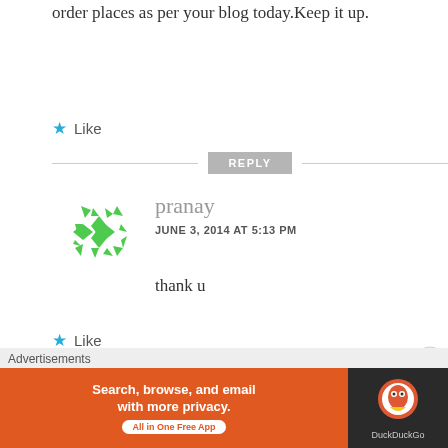order places as per your blog today.Keep it up.
★ Like
REPLY
[Figure (illustration): Green geometric avatar/icon with diamond cross pattern on white circular background]
pranay
JUNE 3, 2014 AT 5:13 PM
thank u
★ Like
REPLY
Advertisements
[Figure (screenshot): DuckDuckGo advertisement banner: orange section with 'Search, browse, and email with more privacy. All in One Free App' and dark section with DuckDuckGo duck logo]